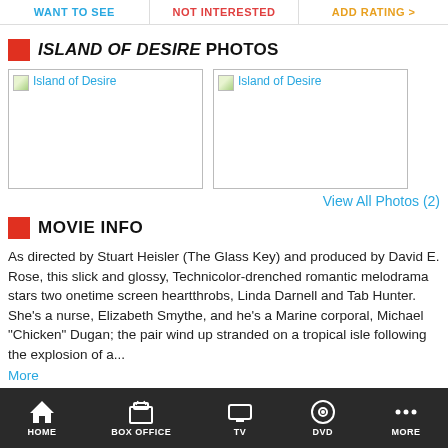WANT TO SEE | NOT INTERESTED | ADD RATING
ISLAND OF DESIRE PHOTOS
[Figure (photo): Two broken image placeholders labeled 'Island of Desire']
View All Photos (2)
MOVIE INFO
As directed by Stuart Heisler (The Glass Key) and produced by David E. Rose, this slick and glossy, Technicolor-drenched romantic melodrama stars two onetime screen heartthrobs, Linda Darnell and Tab Hunter. She's a nurse, Elizabeth Smythe, and he's a Marine corporal, Michael "Chicken" Dugan; the pair wind up stranded on a tropical isle following the explosion of a...
More
HOME | BOX OFFICE | TV | DVD | MORE